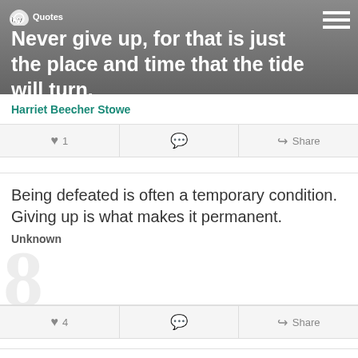Never give up, for that is just the place and time that the tide will turn.
Harriet Beecher Stowe
♥ 1  💬  Share
Being defeated is often a temporary condition. Giving up is what makes it permanent.
Unknown
♥ 4  💬  Share
Our greatest weakness lies in giving up. The most certain way to succeed is always to try just one more time.
[Figure (screenshot): Walgreens advertisement banner: Shop Vitamins at Walgreens / Walgreens Photo]